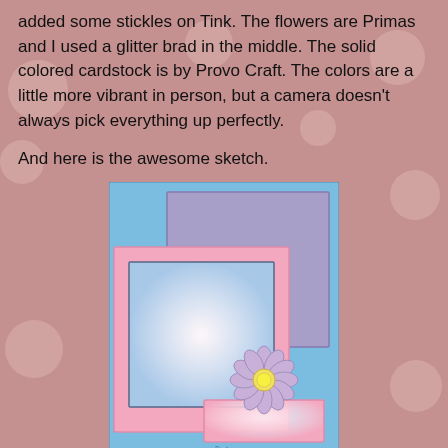added some stickles on Tink. The flowers are Primas and I used a glitter brad in the middle. The solid colored cardstock is by Provo Craft. The colors are a little more vibrant in person, but a camera doesn't always pick everything up perfectly.
And here is the awesome sketch.
[Figure (illustration): A card layout sketch illustration showing a light blue card base with a lavender/purple rectangle in the upper right, a pink-bordered frame with a light blue photo placeholder square, a small pink rectangle at the bottom center, and a lavender daisy flower with yellow center overlapping the bottom-right corner of the photo frame.]